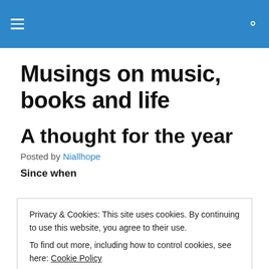≡  🔍
Musings on music, books and life
A thought for the year
Posted by Niallhope
Since when
Privacy & Cookies: This site uses cookies. By continuing to use this website, you agree to their use.
To find out more, including how to control cookies, see here: Cookie Policy
Close and accept
Is it ok to ignore human suffering?